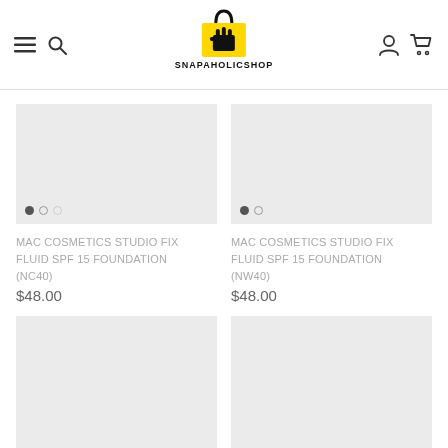SNAPAHOLICSHOP navigation header with logo, hamburger menu, search, user and cart icons
[Figure (screenshot): Product image placeholder (light gray) for MAC Cosmetics Studio Fix Fluid SPF 15 Foundation NC40 with 3 dot carousel indicators]
MAC COSMETICS STUDIO FIX FLUID SPF 15 FOUNDATION (NC40)
$48.00
[Figure (screenshot): Product image placeholder (light gray) for MAC Cosmetics Studio Fix Fluid SPF 15 Foundation NW40 with 2 dot carousel indicators]
MAC COSMETICS STUDIO FIX FLUID SPF 15 FOUNDATION (NW40)
$48.00
[Figure (screenshot): Product image placeholder (light gray) — partial view, bottom left product]
[Figure (screenshot): Product image placeholder (light gray) — partial view, bottom right product]